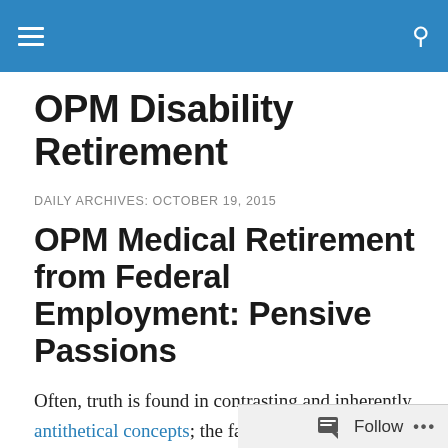OPM Disability Retirement
OPM Disability Retirement
DAILY ARCHIVES: OCTOBER 19, 2015
OPM Medical Retirement from Federal Employment: Pensive Passions
Often, truth is found in contrasting and inherently antithetical concepts; the fact that they may be contradictory in appearance, does not substantively make